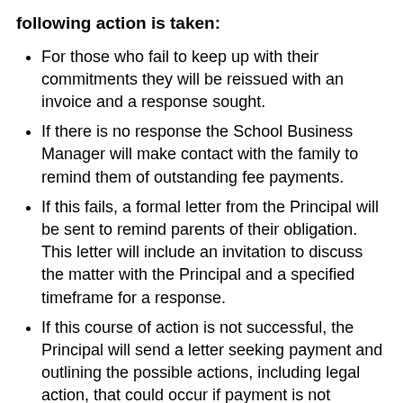following action is taken:
For those who fail to keep up with their commitments they will be reissued with an invoice and a response sought.
If there is no response the School Business Manager will make contact with the family to remind them of outstanding fee payments.
If this fails, a formal letter from the Principal will be sent to remind parents of their obligation. This letter will include an invitation to discuss the matter with the Principal and a specified timeframe for a response.
If this course of action is not successful, the Principal will send a letter seeking payment and outlining the possible actions, including legal action, that could occur if payment is not received within the specified timeframe.
If there is no response, the school will use the